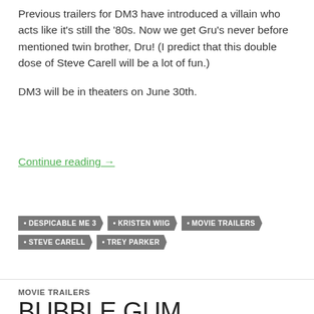Previous trailers for DM3 have introduced a villain who acts like it's still the '80s. Now we get Gru's never before mentioned twin brother, Dru! (I predict that this double dose of Steve Carell will be a lot of fun.)

DM3 will be in theaters on June 30th.
Continue reading →
DESPICABLE ME 3
KRISTEN WIIG
MOVIE TRAILERS
STEVE CARELL
TREY PARKER
MOVIE TRAILERS
BUBBLE GUM TRAILER: